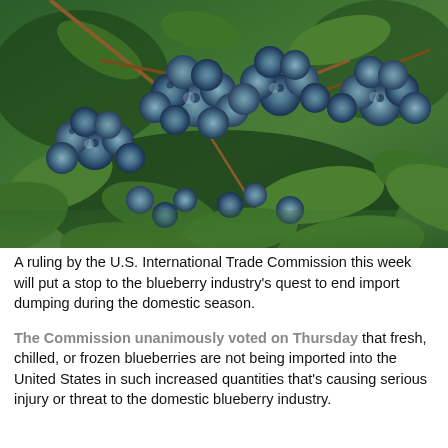[Figure (photo): Close-up photograph of clusters of ripe blueberries on a bush with green leaves in the background.]
A ruling by the U.S. International Trade Commission this week will put a stop to the blueberry industry's quest to end import dumping during the domestic season.
The Commission unanimously voted on Thursday that fresh, chilled, or frozen blueberries are not being imported into the United States in such increased quantities that's causing serious injury or threat to the domestic blueberry industry.